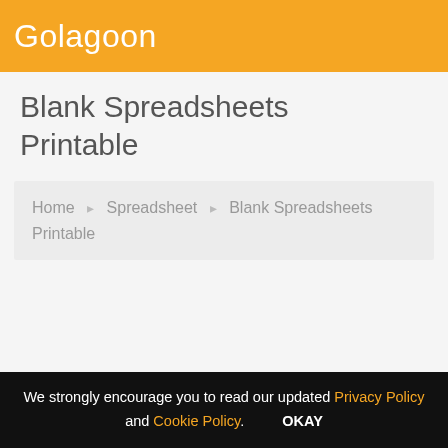Golagoon
Blank Spreadsheets Printable
Home ▸ Spreadsheet ▸ Blank Spreadsheets Printable
We strongly encourage you to read our updated Privacy Policy and Cookie Policy. OKAY